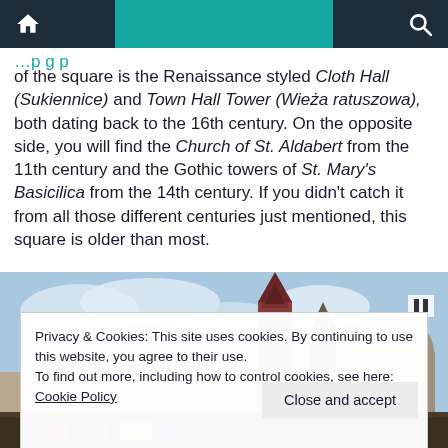Navigation bar with home, menu, and search icons
of the square is the Renaissance styled Cloth Hall (Sukiennice) and Town Hall Tower (Wieża ratuszowa), both dating back to the 16th century. On the opposite side, you will find the Church of St. Aldabert from the 11th century and the Gothic towers of St. Mary's Basicilica from the 14th century. If you didn't catch it from all those different centuries just mentioned, this square is older than most.
[Figure (photo): Photo of Krakow church towers against a blue sky with market stalls below]
Privacy & Cookies: This site uses cookies. By continuing to use this website, you agree to their use.
To find out more, including how to control cookies, see here:
Cookie Policy
Close and accept